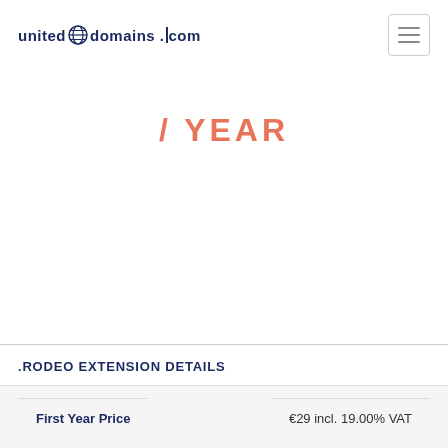united domains .com
/ YEAR
.RODEO EXTENSION DETAILS
| First Year Price | €29 incl. 19.00% VAT |
| --- | --- |